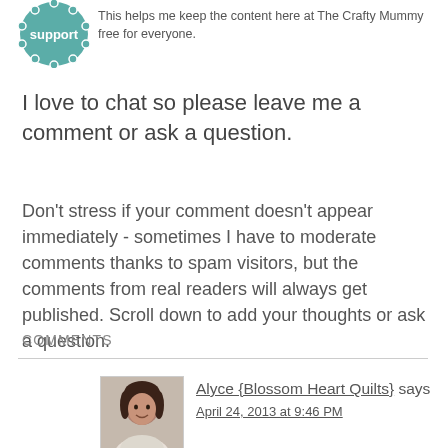[Figure (logo): Teal circular badge with 'support' text, partially visible at top left]
This helps me keep the content here at The Crafty Mummy free for everyone.
I love to chat so please leave me a comment or ask a question.
Don't stress if your comment doesn't appear immediately - sometimes I have to moderate comments thanks to spam visitors, but the comments from real readers will always get published. Scroll down to add your thoughts or ask a question.
COMMENTS
[Figure (photo): Small portrait photo of a woman with dark hair, smiling]
Alyce {Blossom Heart Quilts} says
April 24, 2013 at 9:46 PM